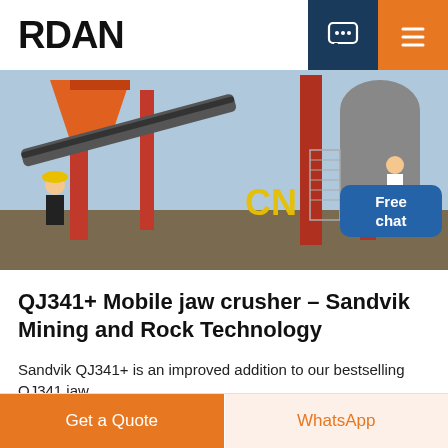RDAN
[Figure (photo): Industrial mining/crushing plant with red steel structures, conveyor belts, large machinery, workers in yellow hard hats. Yellow text 'CN' visible on machinery. Person in white coat and assistant figure with 'Free chat' bubble.]
QJ341+ Mobile jaw crusher – Sandvik Mining and Rock Technology
Sandvik QJ341+ is an improved addition to our bestselling QJ341 jaw